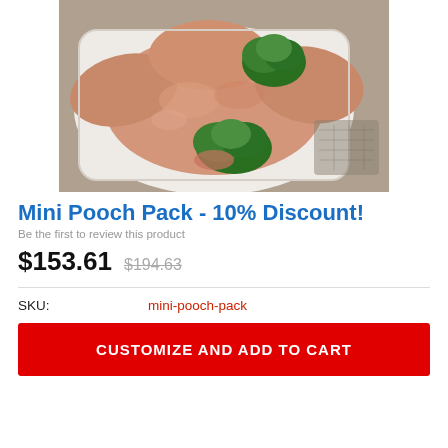[Figure (photo): Raw whole chicken/poultry on a white tray garnished with fresh green parsley/herbs]
Mini Pooch Pack - 10% Discount!
Be the first to review this product
$153.61  $194.63
| SKU: | mini-pooch-pack |
| --- | --- |
CUSTOMIZE AND ADD TO CART